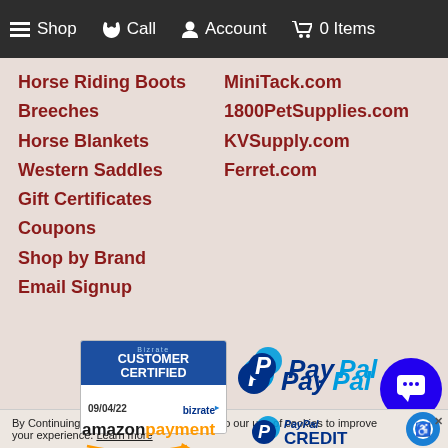Shop  Call  Account  0 Items
Horse Riding Boots
Breeches
Horse Blankets
Western Saddles
Gift Certificates
Coupons
Shop by Brand
Email Signup
MiniTack.com
1800PetSupplies.com
KVSupply.com
Ferret.com
[Figure (logo): Bizrate Customer Certified badge dated 09/04/22]
[Figure (logo): PayPal logo]
[Figure (logo): Amazon Payment logo]
[Figure (logo): PayPal Credit logo]
[Figure (logo): Blue chat bubble icon button]
By Continuing to use our site, you consent to our use of cookies to improve your experience. Learn more